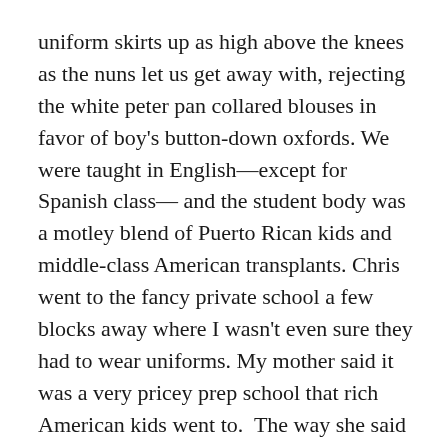uniform skirts up as high above the knees as the nuns let us get away with, rejecting the white peter pan collared blouses in favor of boy's button-down oxfords. We were taught in English—except for Spanish class— and the student body was a motley blend of Puerto Rican kids and middle-class American transplants. Chris went to the fancy private school a few blocks away where I wasn't even sure they had to wear uniforms. My mother said it was a very pricey prep school that rich American kids went to.  The way she said it, a 'rich American' was the last thing in the world you'd want to be.
Chris might have been a richy-rich but he wasn't stuck up and snobby like a lot of the kids from his school, even though if anyone had a right to be cocky he did. He was a star paddler, so good he'd made the Hobie surf team and got his picture in Surfer magazine. Not the cover like Machuca, but still. The 1968 world championships were